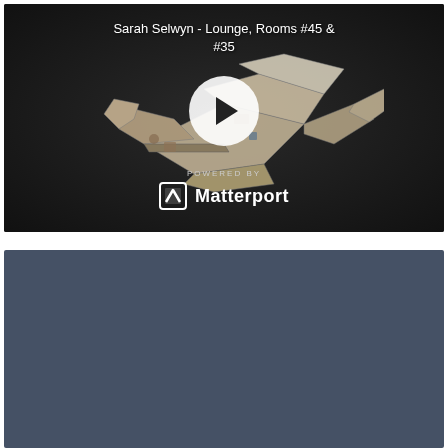[Figure (screenshot): Matterport 3D virtual tour embed showing Sarah Selwyn - Lounge, Rooms #45 & #35. Dark background with 3D model of room layout visible, white play button in center, 'POWERED BY Matterport' branding at bottom.]
[Figure (screenshot): Second Matterport embed section, showing a steel blue/slate colored loading or placeholder screen.]